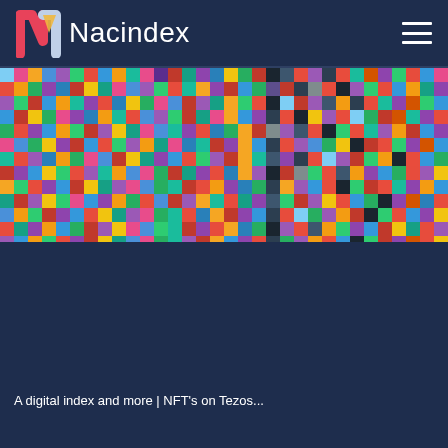Nacindex
[Figure (photo): A dense mosaic collage image made up of hundreds of small digital artworks and images arranged in a grid, colorful with various NFT-style art pieces]
A digital index and more | NFT's on Tezos...